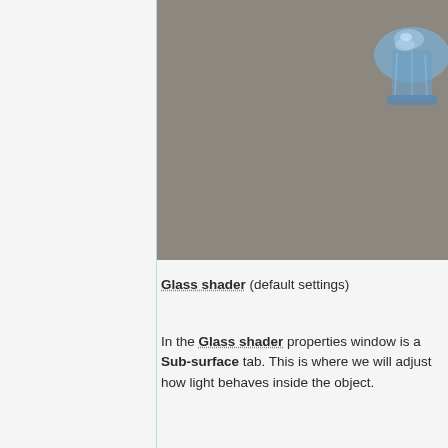[Figure (screenshot): A rendered 3D scene showing a glass object (appears blue/crystalline) against a gray background. Only the upper-right portion of the object is visible, rendered with a glass shader using default settings.]
Glass shader (default settings)
In the Glass shader properties window is a Sub-surface tab. This is where we will adjust how light behaves inside the object.